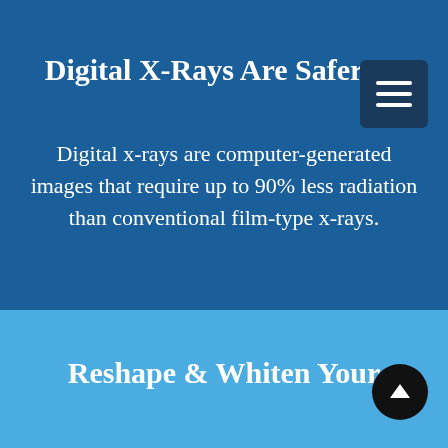Digital X-Rays Are Safer
Digital x-rays are computer-generated images that require up to 90% less radiation than conventional film-type x-rays.
Reshape & Whiten Your Smile With Me...